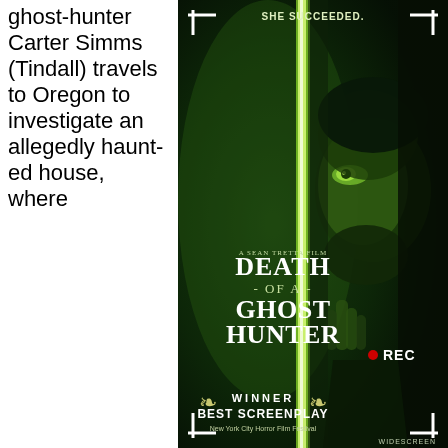ghost-hunter Carter Simms (Tindall) travels to Oregon to investigate an allegedly haunted house, where
[Figure (photo): Movie poster for 'Death of a Ghost Hunter' (A Sean Tretta Film). Green-tinted night-vision style image of a man peering through a gap in curtains/door. Top text: 'SHE SUCCEEDED.' Camera viewfinder corners visible. Red REC indicator. Bottom: WINNER BEST SCREENPLAY, New York City Horror Film Festival laurel wreath. WIDESCREEN label bottom right.]